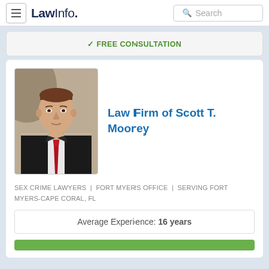LawInfo. Search
✓ FREE CONSULTATION
[Figure (photo): Professional headshot of a middle-aged man in a black suit with a red tie, against a neutral background]
Law Firm of Scott T. Moorey
SEX CRIME LAWYERS | FORT MYERS OFFICE | SERVING FORT MYERS-CAPE CORAL, FL
Average Experience: 16 years